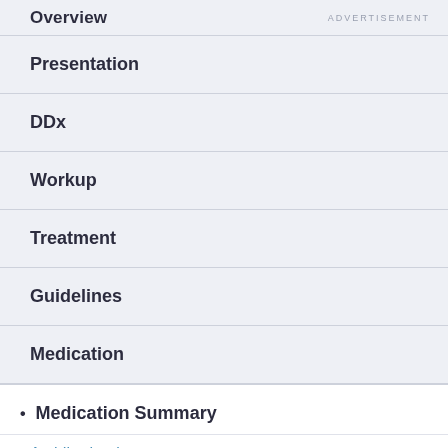Overview   ADVERTISEMENT
Presentation
DDx
Workup
Treatment
Guidelines
Medication
• Medication Summary
Antidiarrheal agents
Antimotility agents (partial, cut off)